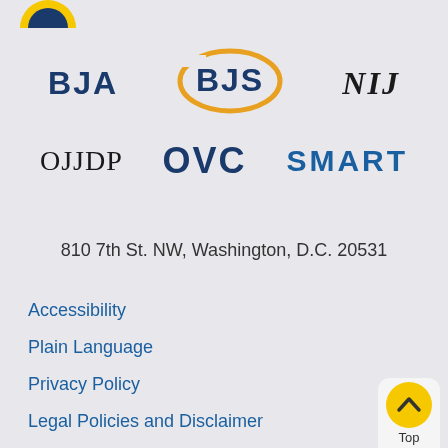[Figure (logo): Partial circular gold/yellow logo at top left (cropped)]
[Figure (logo): BJA logo - bold dark blue text]
[Figure (logo): BJS logo - bold dark blue text inside orange oval ring]
[Figure (logo): NIJ logo - italic black text]
[Figure (logo): OJJDP logo - serif black text]
[Figure (logo): OVC logo - bold dark blue text]
[Figure (logo): SMART logo - bold blue text]
810 7th St. NW, Washington, D.C. 20531
Accessibility
Plain Language
Privacy Policy
Legal Policies and Disclaimer